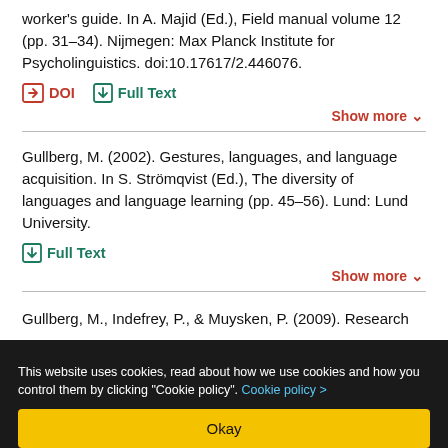worker's guide. In A. Majid (Ed.), Field manual volume 12 (pp. 31–34). Nijmegen: Max Planck Institute for Psycholinguistics. doi:10.17617/2.446076.
DOI  Full Text  Show more
Gullberg, M. (2002). Gestures, languages, and language acquisition. In S. Strömqvist (Ed.), The diversity of languages and language learning (pp. 45–56). Lund: Lund University.
Full Text  Show more
Gullberg, M., Indefrey, P., & Muysken, P. (2009). Research
This website uses cookies, read about how we use cookies and how you control them by clicking "Cookie policy". Cookie policy >
Okay